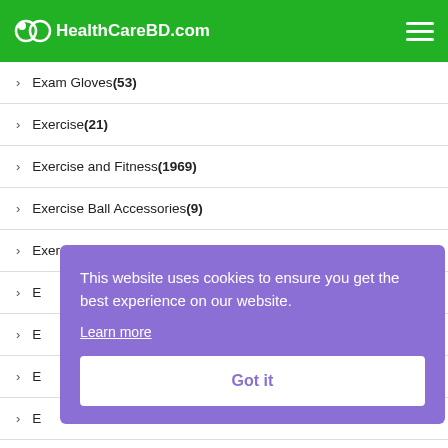HealthCareBD.com
Exam Gloves (53)
Exercise (21)
Exercise and Fitness (1969)
Exercise Ball Accessories (9)
Exercise Ball Chairs (6)
E...
E...
E...
E...
Exercise Machine Attachments (33)
This website uses cookies to ensure you get the best experience on our website. Learn more Got it